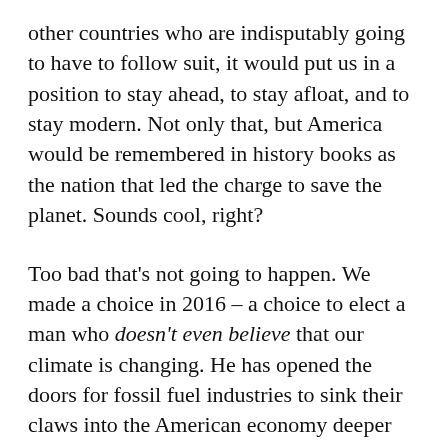other countries who are indisputably going to have to follow suit, it would put us in a position to stay ahead, to stay afloat, and to stay modern. Not only that, but America would be remembered in history books as the nation that led the charge to save the planet. Sounds cool, right?
Too bad that's not going to happen. We made a choice in 2016 – a choice to elect a man who doesn't even believe that our climate is changing. He has opened the doors for fossil fuel industries to sink their claws into the American economy deeper and ever deeper. We made a decision at a very critical time in American, and world history – we made the